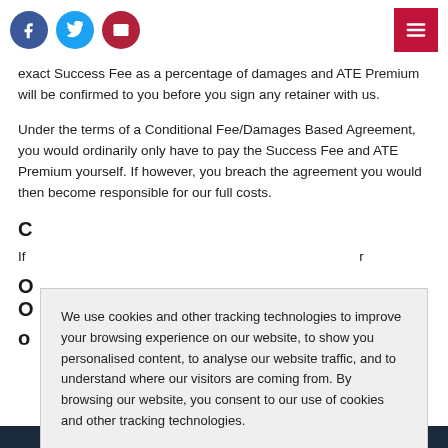Social icons and hamburger menu
exact Success Fee as a percentage of damages and ATE Premium will be confirmed to you before you sign any retainer with us.
Under the terms of a Conditional Fee/Damages Based Agreement, you would ordinarily only have to pay the Success Fee and ATE Premium yourself. If however, you breach the agreement you would then become responsible for our full costs.
Cookie notice: We use cookies and other tracking technologies to improve your browsing experience on our website, to show you personalised content, to analyse our website traffic, and to understand where our visitors are coming from. By browsing our website, you consent to our use of cookies and other tracking technologies.